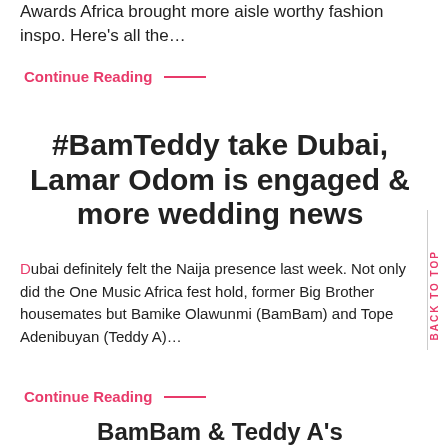Awards Africa brought more aisle worthy fashion inspo. Here's all the…
Continue Reading —
#BamTeddy take Dubai, Lamar Odom is engaged & more wedding news
Dubai definitely felt the Naija presence last week. Not only did the One Music Africa fest hold, former Big Brother housemates but Bamike Olawunmi (BamBam) and Tope Adenibuyan (Teddy A)…
Continue Reading —
BamBam & Teddy A's Destination...